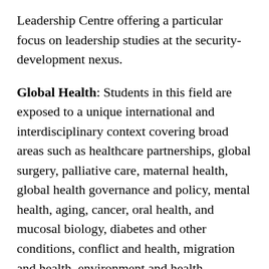Leadership Centre offering a particular focus on leadership studies at the security-development nexus.
Global Health: Students in this field are exposed to a unique international and interdisciplinary context covering broad areas such as healthcare partnerships, global surgery, palliative care, maternal health, global health governance and policy, mental health, aging, cancer, oral health, and mucosal biology, diabetes and other conditions, conflict and health, migration and health, environment and health.
Development: The study of development at King's is spread across a range of disciplines with a particular focus on the School of Global Affairs including